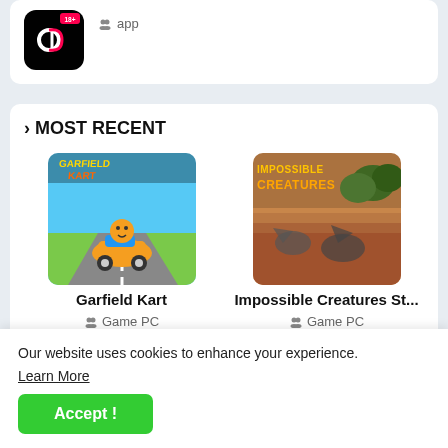[Figure (screenshot): TikTok app icon thumbnail - black background with TikTok logo, 18+ label]
app
> MOST RECENT
[Figure (screenshot): Garfield Kart game cover image showing cartoon racing scene]
Garfield Kart
Game PC
[Figure (screenshot): Impossible Creatures Steam Edition game cover image]
Impossible Creatures St...
Game PC
Our website uses cookies to enhance your experience. Learn More
Accept !